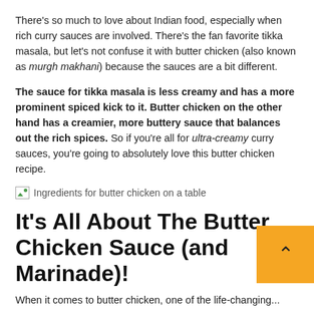There's so much to love about Indian food, especially when rich curry sauces are involved. There's the fan favorite tikka masala, but let's not confuse it with butter chicken (also known as murgh makhani) because the sauces are a bit different.
The sauce for tikka masala is less creamy and has a more prominent spiced kick to it. Butter chicken on the other hand has a creamier, more buttery sauce that balances out the rich spices. So if you're all for ultra-creamy curry sauces, you're going to absolutely love this butter chicken recipe.
[Figure (photo): Ingredients for butter chicken on a table (image placeholder with alt text)]
It's All About The Butter Chicken Sauce (and Marinade)!
When it comes to butter chicken, one of the life-changing...